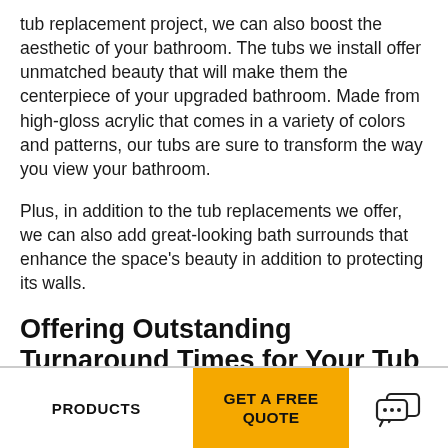tub replacement project, we can also boost the aesthetic of your bathroom. The tubs we install offer unmatched beauty that will make them the centerpiece of your upgraded bathroom. Made from high-gloss acrylic that comes in a variety of colors and patterns, our tubs are sure to transform the way you view your bathroom.
Plus, in addition to the tub replacements we offer, we can also add great-looking bath surrounds that enhance the space's beauty in addition to protecting its walls.
Offering Outstanding Turnaround Times for Your Tub Replacement Project
PRODUCTS | GET A FREE QUOTE | [chat icon]